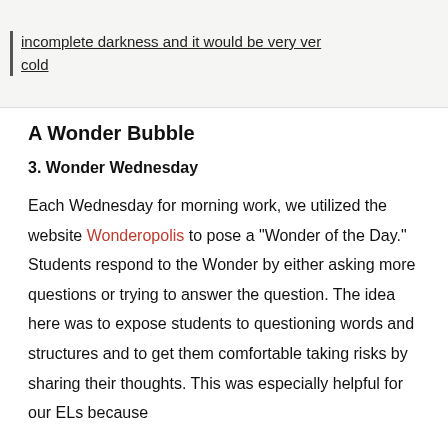[Figure (photo): Handwritten student text on lined paper, partially visible. Text reads: 'incomplete darkness and it would be very very cold']
A Wonder Bubble
3. Wonder Wednesday
Each Wednesday for morning work, we utilized the website Wonderopolis to pose a “Wonder of the Day.” Students respond to the Wonder by either asking more questions or trying to answer the question. The idea here was to expose students to questioning words and structures and to get them comfortable taking risks by sharing their thoughts. This was especially helpful for our ELs because